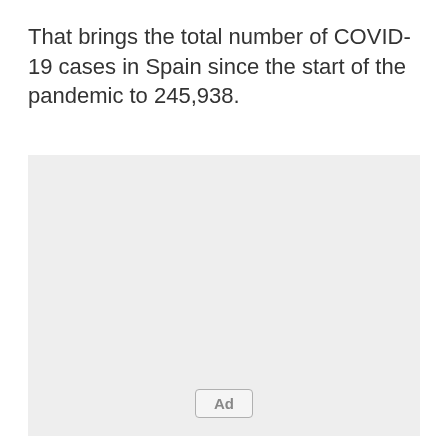That brings the total number of COVID-19 cases in Spain since the start of the pandemic to 245,938.
[Figure (other): Advertisement placeholder box with 'Ad' button label at the bottom center]